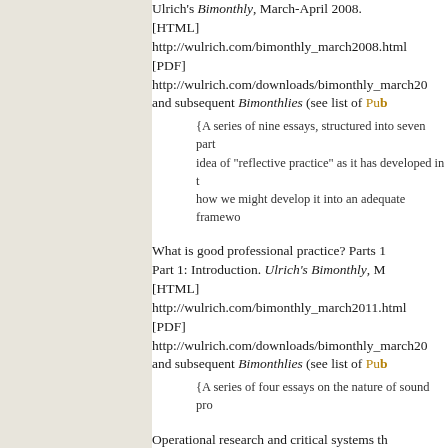Ulrich's Bimonthly, March-April 2008. [HTML] http://wulrich.com/bimonthly_march2008.html [PDF] http://wulrich.com/downloads/bimonthly_march20... and subsequent Bimonthlies (see list of Pub
{A series of nine essays, structured into seven parts... idea of "reflective practice" as it has developed in t... how we might develop it into an adequate framewo...
What is good professional practice? Parts 1...
Part 1: Introduction. Ulrich's Bimonthly, M... [HTML] http://wulrich.com/bimonthly_march2011.html [PDF] http://wulrich.com/downloads/bimonthly_march20... and subsequent Bimonthlies (see list of Pub
{A series of four essays on the nature of sound pro...
Operational research and critical systems th... perspective. Journal of the Operational Res... (September), 2012; pp. 1307-1322 (Part 1)... 2). Part 1: OR as applied systems thinking.... practice. [ISSN 0160-5682]